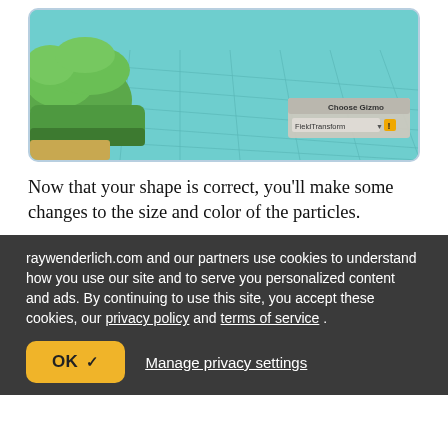[Figure (screenshot): A 3D game editor screenshot showing green foam-like shapes on a teal tiled floor, with a 'Choose Gizmo / FieldTransform' UI panel in the bottom right corner.]
Now that your shape is correct, you'll make some changes to the size and color of the particles.
raywenderlich.com and our partners use cookies to understand how you use our site and to serve you personalized content and ads. By continuing to use this site, you accept these cookies, our privacy policy and terms of service .
OK ✓   Manage privacy settings